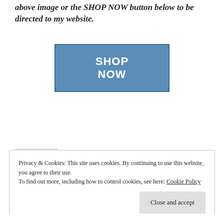above image or the SHOP NOW button below to be directed to my website.
[Figure (other): A blue rectangular button with white bold text reading SHOP NOW]
Privacy & Cookies: This site uses cookies. By continuing to use this website, you agree to their use.
To find out more, including how to control cookies, see here: Cookie Policy
Close and accept